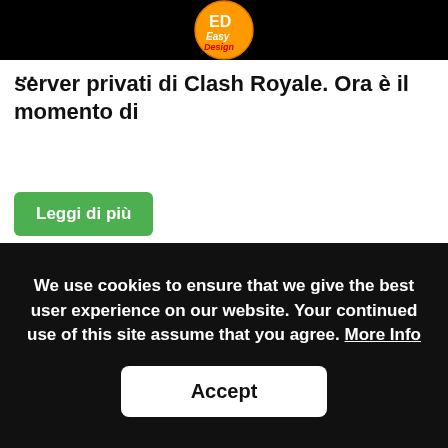Easy Design logo
server privati di Clash Royale. Ora è il momento di ...
Leggi di più
[Figure (screenshot): Screenshot of Clash Royale game showing the Clash Royale logo on the left and game interface with player R6J, 4000 trophies, 10,000 gold, 1,000,000 gems, and a MISSIONI mission timer showing 23h 59min on the right]
We use cookies to ensure that we give the best user experience on our website. Your continued use of this site assume that you agree. More Info
Accept